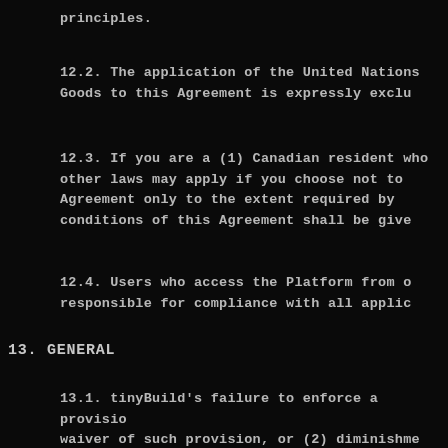principles.
12.2. The application of the United Nations Goods to this Agreement is expressly exclu
12.3. If you are a (1) Canadian resident who other laws may apply if you choose not to Agreement only to the extent required by conditions of this Agreement shall be give
12.4. Users who access the Platform from o responsible for compliance with all applic
13. GENERAL
13.1. tinyBuild's failure to enforce a provisio waiver of such provision, or (2) diminishme tinyBuild may choose to waive enforceme